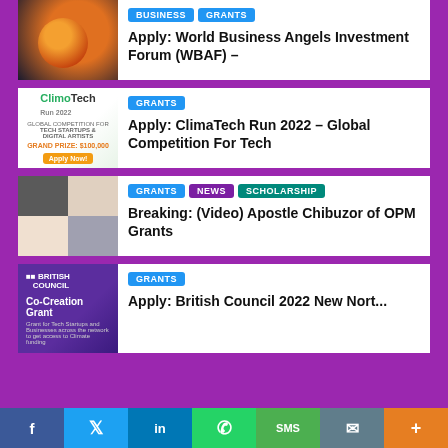[Figure (photo): World Business Angels Investment Forum image with orange planet on dark background]
BUSINESS GRANTS
Apply: World Business Angels Investment Forum (WBAF) –
[Figure (photo): ClimaTech Run 2022 banner for Tech Startups & Digital Artists, Grand Prize $100,000]
GRANTS
Apply: ClimaTech Run 2022 – Global Competition For Tech
[Figure (photo): Apostle Chibuzor of OPM - two people photo collage]
GRANTS NEWS SCHOLARSHIP
Breaking: (Video) Apostle Chibuzor of OPM Grants
[Figure (photo): British Council Co-Creation Grant card with purple background]
GRANTS
Apply: British Council 2022 New Nort...